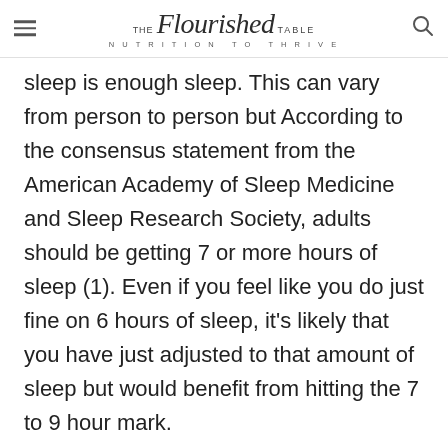THE Flourished TABLE | NUTRITION TO THRIVE
sleep is enough sleep. This can vary from person to person but According to the consensus statement from the American Academy of Sleep Medicine and Sleep Research Society, adults should be getting 7 or more hours of sleep (1). Even if you feel like you do just fine on 6 hours of sleep, it's likely that you have just adjusted to that amount of sleep but would benefit from hitting the 7 to 9 hour mark.